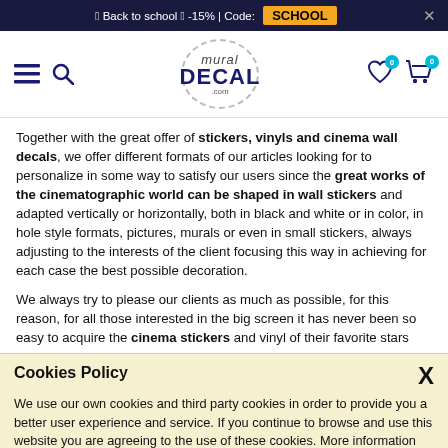🎒 Back to school 🎒 -15% | Code: SCHOOL ×
[Figure (logo): Mural Decal .com logo inside dashed oval border with hamburger menu and magnifier icons on left and heart/cart icons with 0 badges on right]
Together with the great offer of stickers, vinyls and cinema wall decals, we offer different formats of our articles looking for to personalize in some way to satisfy our users since the great works of the cinematographic world can be shaped in wall stickers and adapted vertically or horizontally, both in black and white or in color, in hole style formats, pictures, murals or even in small stickers, always adjusting to the interests of the client focusing this way in achieving for each case the best possible decoration.
We always try to please our clients as much as possible, for this reason, for all those interested in the big screen it has never been so easy to acquire the cinema stickers and vinyl of their favorite stars
Cookies Policy
We use our own cookies and third party cookies in order to provide you a better user experience and service. If you continue to browse and use this website you are agreeing to the use of these cookies. More information about our Cookies Policy
interest such as action, horror, suspense or comedy, thus having enough ideas and models for the best decoration.